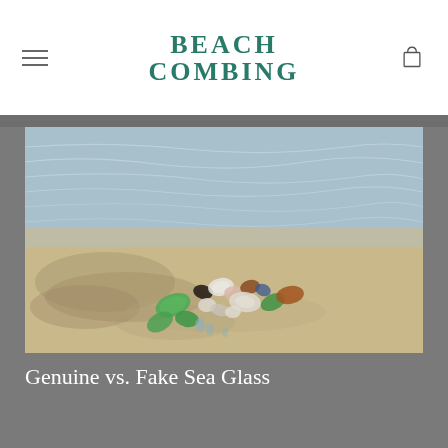BEACH COMBING
[Figure (photo): A collection of colorful sea glass pieces arranged on wet sandy beach — green, white, brown, and blue translucent frosted glass pieces tumbled smooth by the ocean]
Genuine vs. Fake Sea Glass